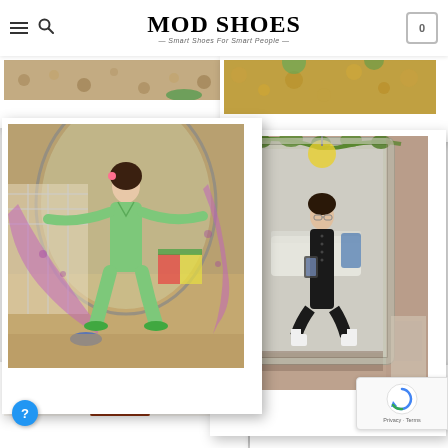MOD SHOES — Smart Shoes For Smart People
[Figure (photo): Partially visible polaroid photo of gravel/garden scene, top-left]
[Figure (photo): Partially visible polaroid photo of gravel/garden scene, top-right]
[Figure (photo): Polaroid photo of woman in green jumpsuit holding purple floral fabric in garden greenhouse setting]
[Figure (photo): Polaroid photo of woman in black dress taking mirror selfie, decorated mirror with greenery]
[Figure (photo): Partially visible polaroid photo at bottom-left]
[Figure (photo): Partially visible polaroid photo at bottom-right]